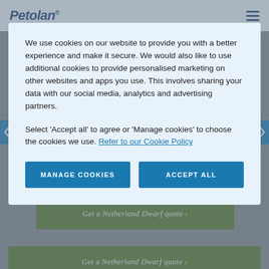Petolan®
We use cookies on our website to provide you with a better experience and make it secure. We would also like to use additional cookies to provide personalised marketing on other websites and apps you use. This involves sharing your data with our social media, analytics and advertising partners.
Select 'Accept all' to agree or 'Manage cookies' to choose the cookies we use. Refer to our Cookie Policy
MANAGE COOKIES
ACCEPT ALL
Get a Netherland Dwarf quote >
Get a Netherland Dwarf quote >